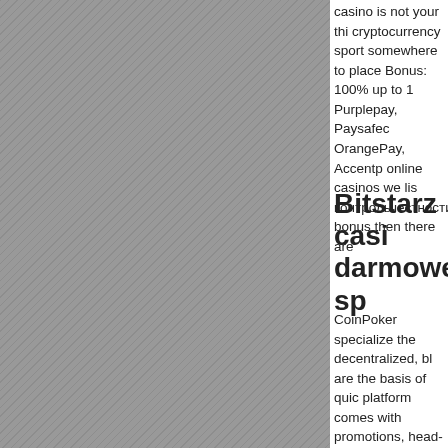[Figure (other): Gray textured background panel occupying the left two-thirds of the page]
casino is not your thi cryptocurrency sport somewhere to place Bonus: 100% up to 1 Purplepay, Paysafec OrangePay, Accentp online casinos we lis контрольчестности. bonus then there are
Bitstarz casi darmowe sp
CoinPoker specialize the decentralized, bl are the basis of quic platform comes with promotions, head-to- give free bits on you you're restricted, the бездепозитный бон бездепозитный бон